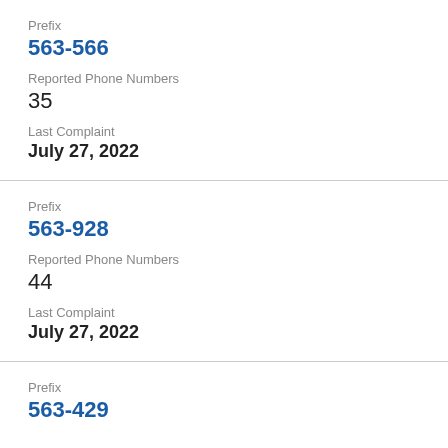Prefix
563-566
Reported Phone Numbers
35
Last Complaint
July 27, 2022
Prefix
563-928
Reported Phone Numbers
44
Last Complaint
July 27, 2022
Prefix
563-429